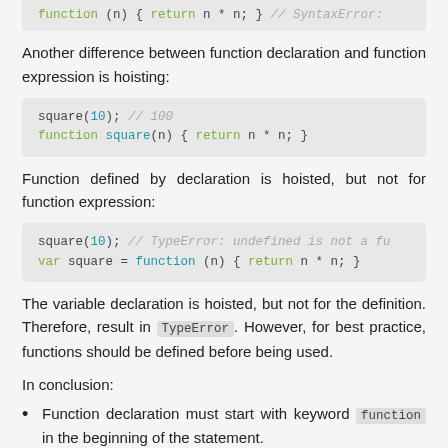[Figure (screenshot): Code block showing: function (n) { return n * n; } // SyntaxError: (partial/clipped at top)]
Another difference between function declaration and function expression is hoisting:
[Figure (screenshot): Code block: square(10); // 100
function square(n) { return n * n; }]
Function defined by declaration is hoisted, but not for function expression:
[Figure (screenshot): Code block: square(10); // TypeError: undefined is not a fu
var square = function (n) { return n * n; }]
The variable declaration is hoisted, but not for the definition. Therefore, result in TypeError. However, for best practice, functions should be defined before being used.
In conclusion:
Function declaration must start with keyword function in the beginning of the statement.